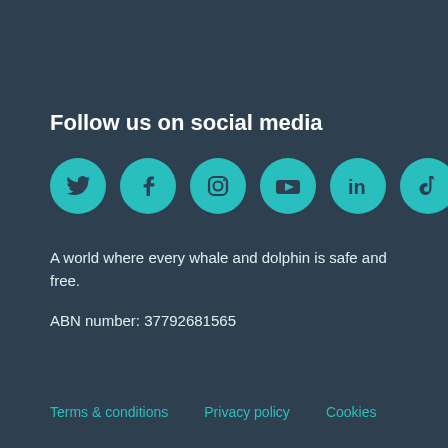Follow us on social media
[Figure (illustration): Six teal circular social media icons in a row: Twitter (bird), Facebook (f), Instagram (camera), YouTube (play button), LinkedIn (in), TikTok (musical note)]
A world where every whale and dolphin is safe and free.
ABN number: 37792681565
Terms & conditions   Privacy policy   Cookies